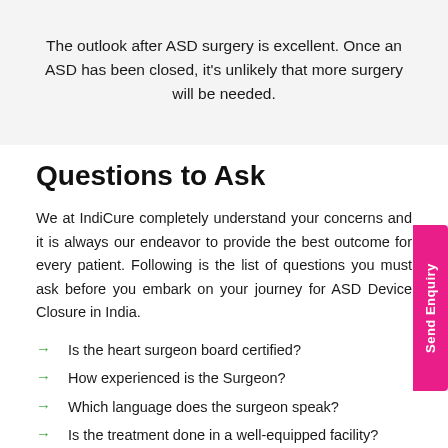The outlook after ASD surgery is excellent. Once an ASD has been closed, it's unlikely that more surgery will be needed.
Questions to Ask
We at IndiCure completely understand your concerns and it is always our endeavor to provide the best outcome for every patient. Following is the list of questions you must ask before you embark on your journey for ASD Device Closure in India.
Is the heart surgeon board certified?
How experienced is the Surgeon?
Which language does the surgeon speak?
Is the treatment done in a well-equipped facility?
What treatment option is recommended for me?